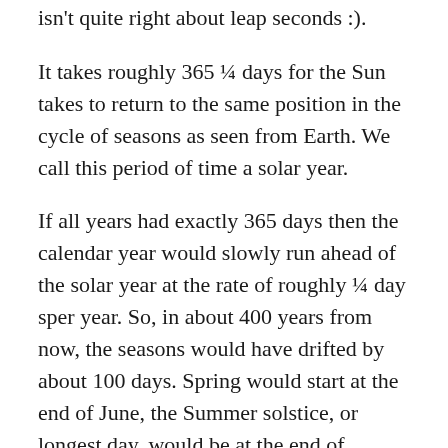isn't quite right about leap seconds :).
It takes roughly 365 ¼ days for the Sun takes to return to the same position in the cycle of seasons as seen from Earth. We call this period of time a solar year.
If all years had exactly 365 days then the calendar year would slowly run ahead of the solar year at the rate of roughly ¼ day sper year. So, in about 400 years from now, the seasons would have drifted by about 100 days. Spring would start at the end of June, the Summer solstice, or longest day, would be at the end of September, the Fall equinox would be at the end of December. To prevent this happening we add an extra